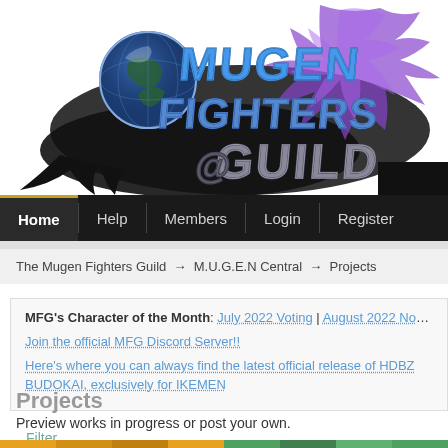[Figure (logo): Mugen Fighters Guild logo with globe, fighter character silhouette, and stylized metallic text 'MUGEN FIGHTERS GUILD']
Home | Help | Members | Login | Register
The Mugen Fighters Guild → M.U.G.E.N Central → Projects
MFG's Character of the Month: July 2022 Voting | August 2022 No...
Join the official MFG Discord Server!!
Here's where you can always find the latest official release of HDBZ BUDOKAI, exclusively for IKEMEN
Projects
Preview works in progress or post your own.
Filter